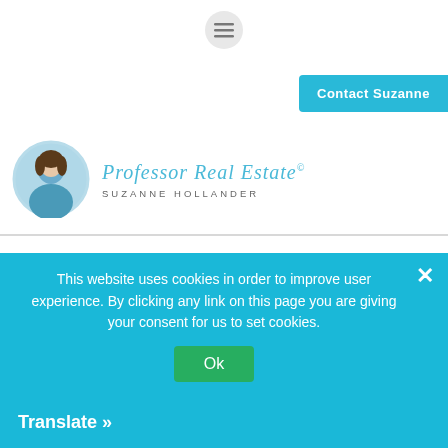[Figure (other): Hamburger/menu icon (three horizontal lines) in a circular grey button at the top center]
[Figure (other): Contact Suzanne button - cyan/teal button in top right area]
[Figure (other): Professor Real Estate logo with circular photo of Suzanne Hollander and script/sans-serif text logo]
experiences that challenge you, move you out of your comfort zone and help you achieve heights you never thought possible.
How does being a woman has impacted your career? Being a
This website uses cookies in order to improve user experience. By clicking any link on this page you are giving your consent for us to set cookies.
Ok
Translate »